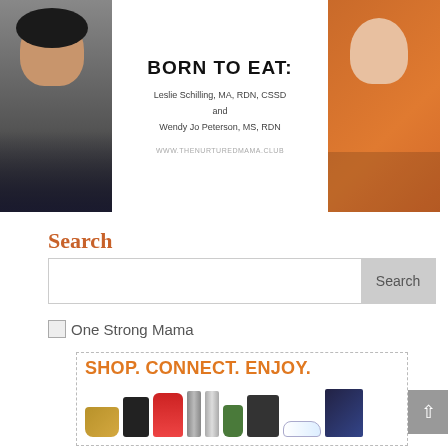[Figure (illustration): Book cover banner for 'Born to Eat' by Leslie Schilling, MA, RDN, CSSD and Wendy Jo Peterson, MS, RDN with two author photos and website www.thenurturedmama.club]
Search
[Figure (screenshot): Search input box with Search button]
One Strong Mama
[Figure (illustration): Shop. Connect. Enjoy. promotional banner with products including purse, gaming console, mixer, thermos, tablet, and movie]